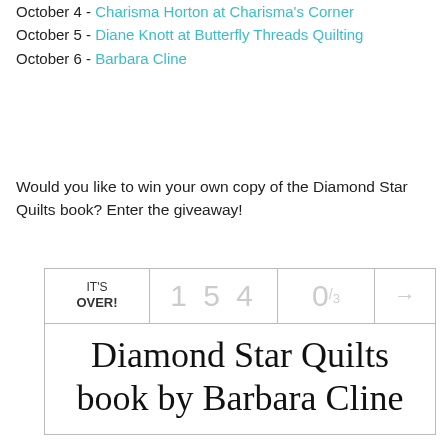October 4 - Charisma Horton at Charisma's Corner
October 5 - Diane Knott at Butterfly Threads Quilting
October 6 - Barbara Cline
Would you like to win your own copy of the Diamond Star Quilts book? Enter the giveaway!
[Figure (other): Giveaway widget showing IT'S OVER! with entry count 154, ratio 0/3, and title Diamond Star Quilts book by Barbara Cline]